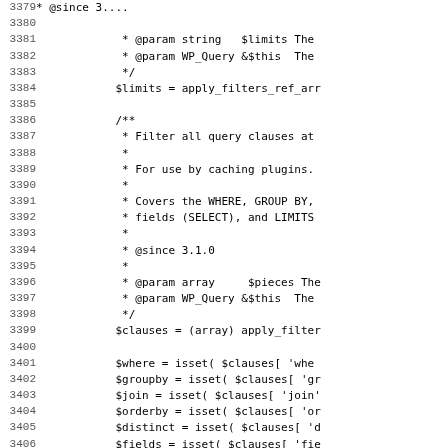Source code listing lines 3379-3411, showing PHP/WordPress query filter code with docblocks and variable assignments.